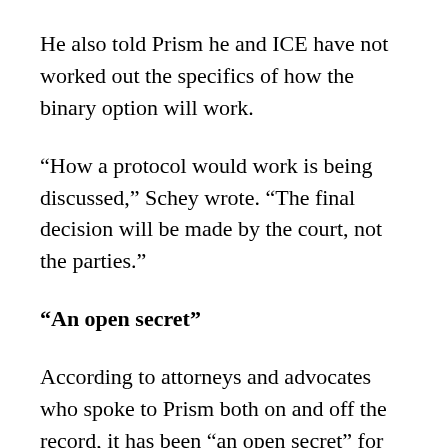He also told Prism he and ICE have not worked out the specifics of how the binary option will work.
“How a protocol would work is being discussed,” Schey wrote. “The final decision will be made by the court, not the parties.”
“An open secret”
According to attorneys and advocates who spoke to Prism both on and off the record, it has been “an open secret” for years that Schey is not adequately representing the interest of children subject to the Flores Settlement